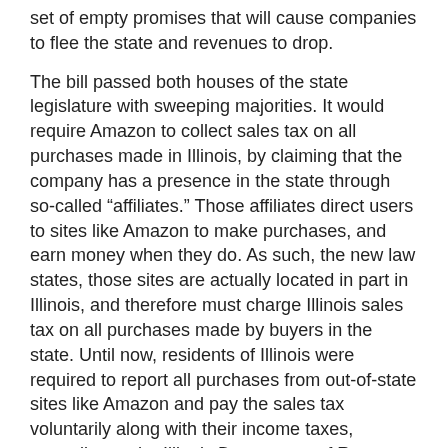set of empty promises that will cause companies to flee the state and revenues to drop.
The bill passed both houses of the state legislature with sweeping majorities. It would require Amazon to collect sales tax on all purchases made in Illinois, by claiming that the company has a presence in the state through so-called “affiliates.” Those affiliates direct users to sites like Amazon to make purchases, and earn money when they do. As such, the new law states, those sites are actually located in part in Illinois, and therefore must charge Illinois sales tax on all purchases made by buyers in the state. Until now, residents of Illinois were required to report all purchases from out-of-state sites like Amazon and pay the sales tax voluntarily along with their income taxes, according to the Illinois Department of Revenue. But few taxpayers even know that fact, and since enforcement is difficult if not impossible, it was rarely paid.
Senate President John Cullerton was one of the chief proponents of the new law; when the bill passed, he issued a press release praising its benefits. “Under this proposal, Illinois would generate an additional $150 million in much-needed revenues in our efforts to prevent millions of dollars in cuts to public safety, health care, and